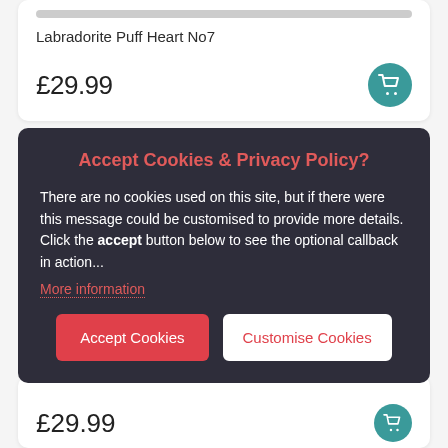Labradorite Puff Heart No7
£29.99
[Figure (screenshot): Cookie consent dialog overlay with title 'Accept Cookies & Privacy Policy?', body text, 'More information' link, and two buttons: 'Accept Cookies' and 'Customise Cookies']
Accept Cookies & Privacy Policy?
There are no cookies used on this site, but if there were this message could be customised to provide more details. Click the accept button below to see the optional callback in action...
More information
£29.99